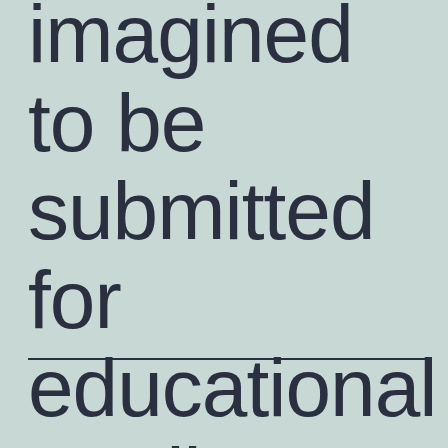imagined to be submitted for educational credit
___